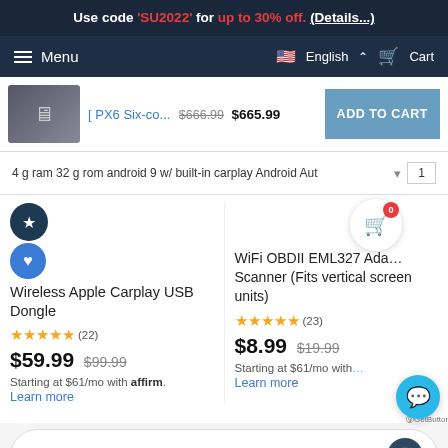Use code 'SU2022' for up to 30% off. (Details...)
Menu   English   Cart
[ PX6 Six-co...  $666.99  $665.99  ADD TO CART
4 g ram 32 g rom android 9 w/ built-in carplay Android Aut   1
Wireless Apple Carplay USB Dongle
★★★★★ (22)
$59.99  $99.99
Starting at $61/mo with affirm.
Learn more
WiFi OBDII EML327 Ada... Scanner (Fits vertical screen units)
★★★★★ (23)
$8.99  $19.99
Starting at $61/mo with...
Learn more
REWARDS